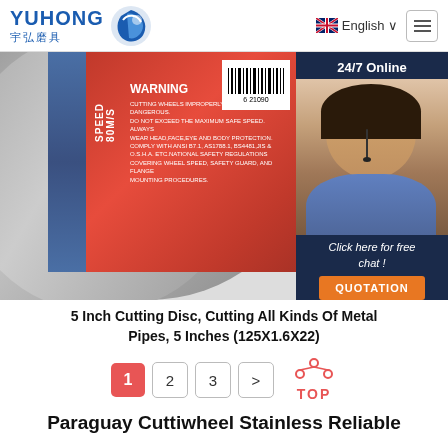YUHONG 宇弘磨具 | English | Menu
[Figure (photo): Close-up of a 5 inch cutting disc label showing WARNING text, SPEED 80M/S, barcode, and a customer service agent overlay with 24/7 Online text, Click here for free chat, and QUOTATION button]
5 Inch Cutting Disc, Cutting All Kinds Of Metal Pipes, 5 Inches (125X1.6X22)
Pagination: 1 (active), 2, 3, >
Paraguay Cuttiwheel Stainless Reliable